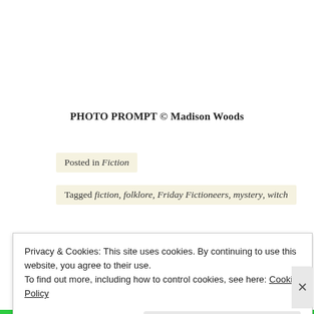PHOTO PROMPT © Madison Woods
Posted in Fiction
Tagged fiction, folklore, Friday Fictioneers, mystery, witch
Privacy & Cookies: This site uses cookies. By continuing to use this website, you agree to their use.
To find out more, including how to control cookies, see here: Cookie Policy
Close and accept